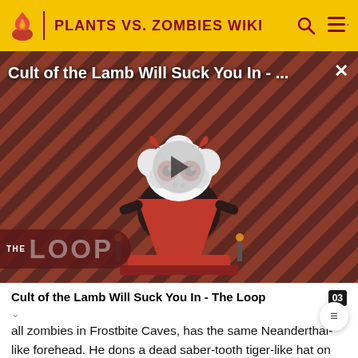PLANTS VS. ZOMBIES WIKI
[Figure (screenshot): Video thumbnail for 'Cult of the Lamb Will Suck You In - The Loop' showing a cartoon lamb character with red eyes on a striped background, with a play button overlay and 'THE LOOP' branding in the lower left. A close button (X) appears in the upper right.]
Cult of the Lamb Will Suck You In - The Loop
all zombies in Frostbite Caves, has the same Neanderthal-like forehead. He dons a dead saber-tooth tiger-like hat on top of his head, a brown furry coat with